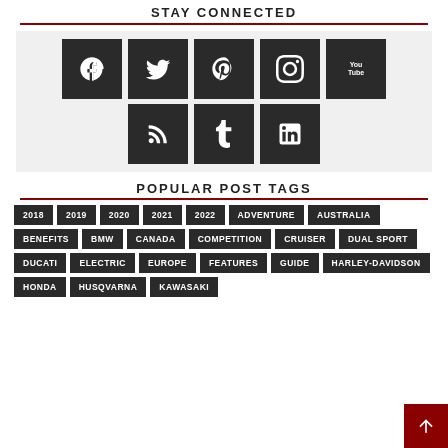STAY CONNECTED
[Figure (infographic): Social media icons grid: Facebook, Twitter, Pinterest, Instagram, YouTube (top row); RSS, Tumblr, LinkedIn (bottom row)]
POPULAR POST TAGS
2018
2019
2020
2021
2022
ADVENTURE
AUSTRALIA
BENEFITS
BMW
CANADA
COMPETITION
CRUISER
DUAL SPORT
DUCATI
ELECTRIC
EUROPE
FEATURES
GUIDE
HARLEY-DAVIDSON
HONDA
HUSQVARNA
KAWASAKI